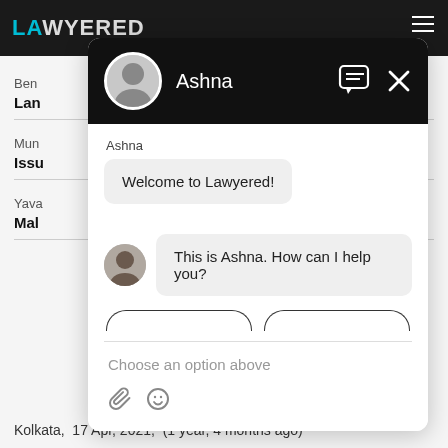[Figure (screenshot): Lawyered website with chat widget overlay showing a conversation with Ashna. The chat window has a black header with avatar and name, and messages saying 'Welcome to Lawyered!' and 'This is Ashna. How can I help you?' with a 'Choose an option above' placeholder and attachment/emoji icons at the bottom.]
Kolkata,  17 Apr, 2021,  (1 year, 4 months ago)